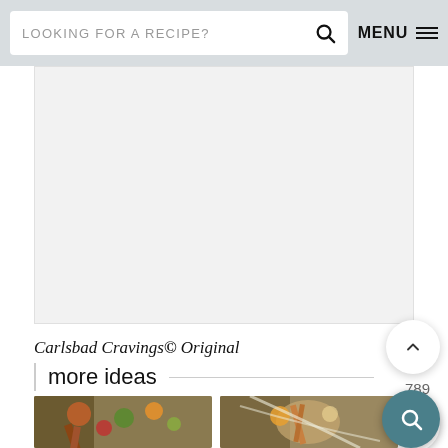LOOKING FOR A RECIPE?  MENU
[Figure (other): Advertisement placeholder area - light gray rectangle]
Carlsbad Cravings© Original
789
more ideas
[Figure (photo): Colorful salad bowl with strawberries, broccoli, mango and wooden spoons]
[Figure (photo): Salad bowl with grilled chicken, citrus slices, nuts and drizzled dressing]